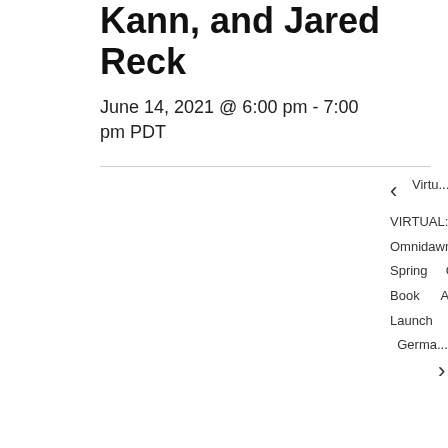Inea Sugitara, Claire Kann, and Jared Reck
June 14, 2021 @ 6:00 pm - 7:00 pm PDT
< Virtu...
VIRTUAL: Event: OmnidawnMartha Spring   Cooley Book   Anne Launch  Germa... >